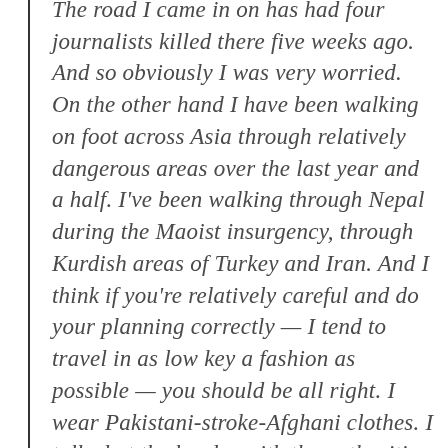The road I came in on has had four journalists killed there five weeks ago. And so obviously I was very worried. On the other hand I have been walking on foot across Asia through relatively dangerous areas over the last year and a half. I've been walking through Nepal during the Maoist insurgency, through Kurdish areas of Turkey and Iran. And I think if you're relatively careful and do your planning correctly — I tend to travel in as low key a fashion as possible — you should be all right. I wear Pakistani-stroke-Afghani clothes. I talked at the border with the authorities there. I hired a car which I